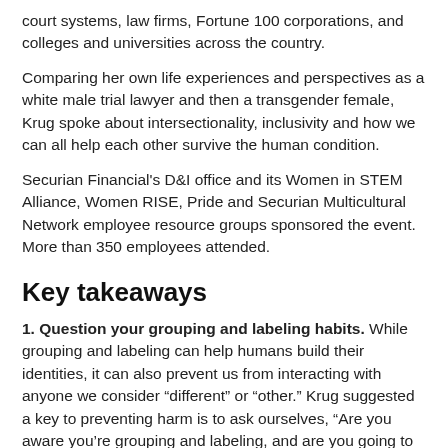court systems, law firms, Fortune 100 corporations, and colleges and universities across the country.
Comparing her own life experiences and perspectives as a white male trial lawyer and then a transgender female, Krug spoke about intersectionality, inclusivity and how we can all help each other survive the human condition.
Securian Financial's D&I office and its Women in STEM Alliance, Women RISE, Pride and Securian Multicultural Network employee resource groups sponsored the event. More than 350 employees attended.
Key takeaways
1. Question your grouping and labeling habits. While grouping and labeling can help humans build their identities, it can also prevent us from interacting with anyone we consider “different” or “other.” Krug suggested a key to preventing harm is to ask ourselves, “Are you aware you’re grouping and labeling, and are you going to allow your grouping and labeling to marginalize another human?”